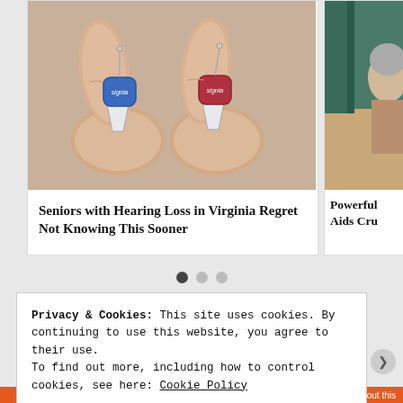[Figure (photo): Two hearing aids (one blue, one red, both Signia brand) held between fingers, shown close-up.]
Seniors with Hearing Loss in Virginia Regret Not Knowing This Sooner
[Figure (photo): Partial view of a person (side card), cropped.]
Powerful Aids Cru
Privacy & Cookies: This site uses cookies. By continuing to use this website, you agree to their use.
To find out more, including how to control cookies, see here: Cookie Policy
Close and accept